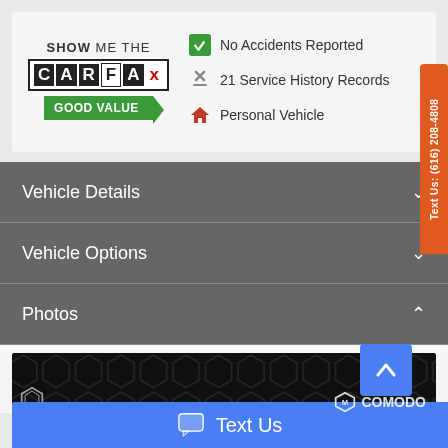[Figure (logo): CARFAX 'Show Me the CARFAX' logo with GOOD VALUE badge]
No Accidents Reported
21 Service History Records
Personal Vehicle
Vehicle Details
Vehicle Options
Photos
[Figure (photo): Dark photo strip showing hexagon pattern background with Comodo logo watermark]
Text Us